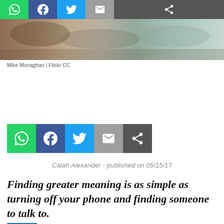[Figure (screenshot): Social share button bar at top with WhatsApp (green), Facebook (dark blue), Twitter (light blue), Email (gray), Share (dark gray) icons]
[Figure (photo): Cropped photo of people lying in a field, likely outdoors in warm light]
Mike Monaghan | Flickr CC
[Figure (screenshot): Social share button bar in middle with WhatsApp, Facebook, Twitter, Email, Share icons, larger size]
Calah Alexander - published on 05/15/17
Finding greater meaning is as simple as turning off your phone and finding someone to talk to.